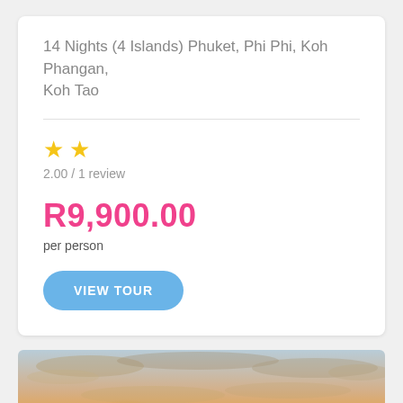14 Nights (4 Islands) Phuket, Phi Phi, Koh Phangan, Koh Tao
2.00 / 1 review
R9,900.00
per person
VIEW TOUR
[Figure (photo): Sunset landscape photo showing golden sun on the horizon with dramatic clouds and mountain silhouettes in blue-grey tones]